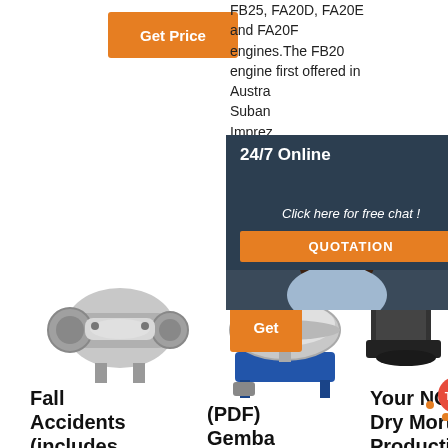[Figure (other): Orange 'Get Price' button]
FB25, FA20D, FA20E and FA20F engines. The FB20 engine first offered in Austra[lia] Suban[u] Imprez[a]
[Figure (other): 24/7 Online chat widget overlay with woman wearing headset, 'Click here for free chat!' tagline and orange QUOTATION button]
[Figure (other): Orange 'Get' button (partially visible)]
[Figure (photo): Industrial mixing/grinding machine, grey metal]
[Figure (photo): Blue and silver industrial sieve/vibrating machine]
[Figure (photo): Industrial machine partially visible on right side]
Fall Accidents (includes
(PDF) Gemba
Your NO.1 Dry Mortar Production
[Figure (logo): TOP logo with orange dots and text]